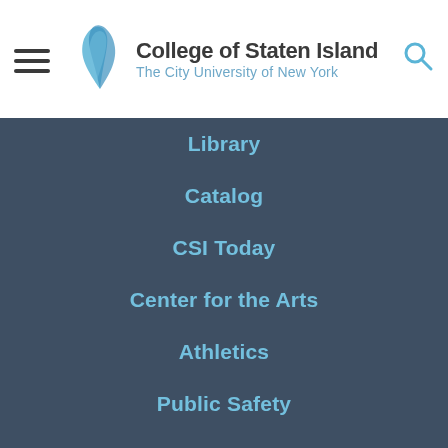[Figure (logo): College of Staten Island - The City University of New York logo with leaf/feather icon]
Library
Catalog
CSI Today
Center for the Arts
Athletics
Public Safety
Careers at CSI
Policies, Procedures and Governance